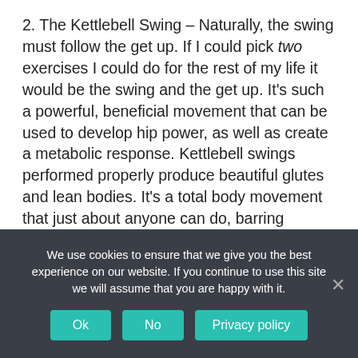2. The Kettlebell Swing – Naturally, the swing must follow the get up. If I could pick two exercises I could do for the rest of my life it would be the swing and the get up. It's such a powerful, beneficial movement that can be used to develop hip power, as well as create a metabolic response. Kettlebell swings performed properly produce beautiful glutes and lean bodies. It's a total body movement that just about anyone can do, barring significant mobility restrictions, and there are so many variations that it's impossible to get bored. I do swings twice a week, and I have seen not only tremendous results to my physique but
We use cookies to ensure that we give you the best experience on our website. If you continue to use this site we will assume that you are happy with it.